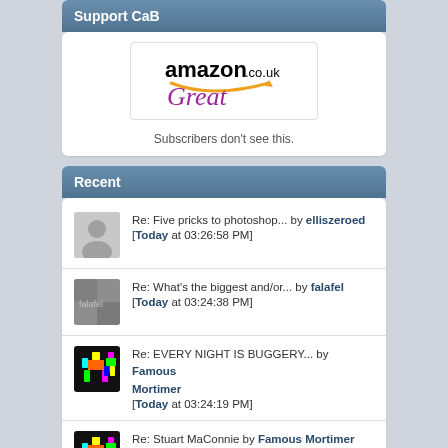Support CaB
[Figure (logo): Amazon.co.uk logo with the word 'Great' in purple italic text below it]
Subscribers don't see this.
Recent
Re: Five pricks to photoshop... by elliszeroed [Today at 03:26:58 PM]
Re: What's the biggest and/or... by falafel [Today at 03:24:38 PM]
Re: EVERY NIGHT IS BUGGERY... by Famous Mortimer [Today at 03:24:19 PM]
Re: Stuart MaConnie by Famous Mortimer [Today at 03:22:21 PM]